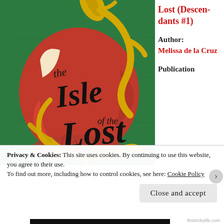[Figure (illustration): Book cover of 'The Isle of the Lost' showing a bitten red apple with gold/yellow vine tendrils wrapped around it on a green textured background, with stylized script lettering of the title in black]
Lost (Descendants #1)
Author: Melissa de la Cruz
Publication
Privacy & Cookies: This site uses cookies. By continuing to use this website, you agree to their use.
To find out more, including how to control cookies, see here: Cookie Policy
Close and accept